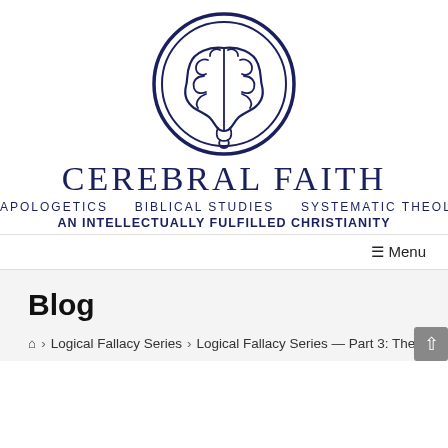[Figure (logo): Cerebral Faith logo: a stylized human brain inside a double circle, drawn in dark navy blue outline style]
CEREBRAL FAITH
APOLOGETICS   BIBLICAL STUDIES   SYSTEMATIC THEOLO…
AN INTELLECTUALLY FULFILLED CHRISTIANITY
≡ Menu
Blog
🏠 > Logical Fallacy Series > Logical Fallacy Series — Part 3: The S…